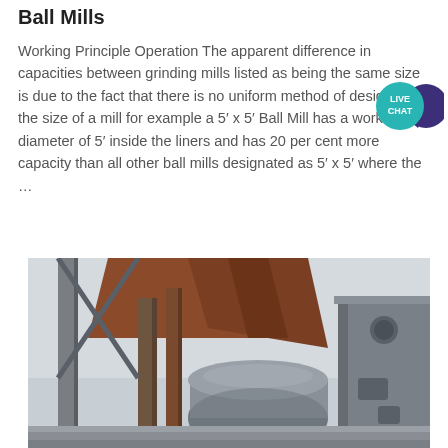Ball Mills
Working Principle Operation The apparent difference in capacities between grinding mills listed as being the same size is due to the fact that there is no uniform method of designating the size of a mill for example a 5′ x 5′ Ball Mill has a working diameter of 5′ inside the liners and has 20 per cent more capacity than all other ball mills designated as 5′ x 5′ where the …
[Figure (photo): Industrial ball mill machinery photographed outdoors, showing large metal cylindrical components, structural steel framework, conveyor or chute elements in rust/brown color, and heavy grey metal housing and brackets.]